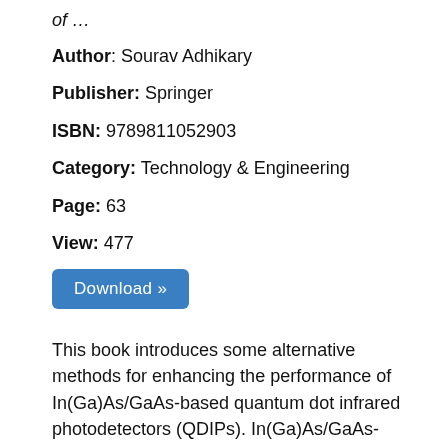of …
Author: Sourav Adhikary
Publisher: Springer
ISBN: 9789811052903
Category: Technology & Engineering
Page: 63
View: 477
Download »
This book introduces some alternative methods for enhancing the performance of In(Ga)As/GaAs-based quantum dot infrared photodetectors (QDIPs). In(Ga)As/GaAs-based QDIPs and focal plane array (FPA)